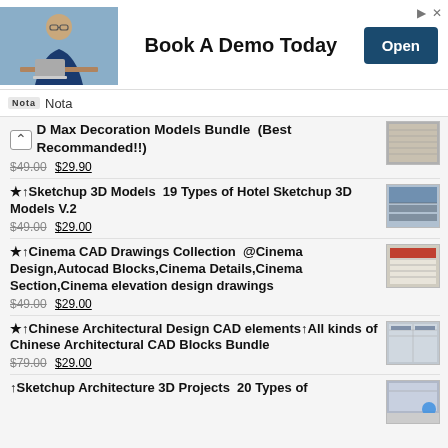[Figure (photo): Advertisement banner: man in glasses, 'Book A Demo Today' text, Open button, Nota branding]
3D Max Decoration Models Bundle (Best Recommanded!!) $49.00 $29.90
★↑Sketchup 3D Models 19 Types of Hotel Sketchup 3D Models V.2 $49.00 $29.00
★↑Cinema CAD Drawings Collection @Cinema Design,Autocad Blocks,Cinema Details,Cinema Section,Cinema elevation design drawings $49.00 $29.00
★↑Chinese Architectural Design CAD elements↑All kinds of Chinese Architectural CAD Blocks Bundle $79.00 $29.00
↑Sketchup Architecture 3D Projects 20 Types of